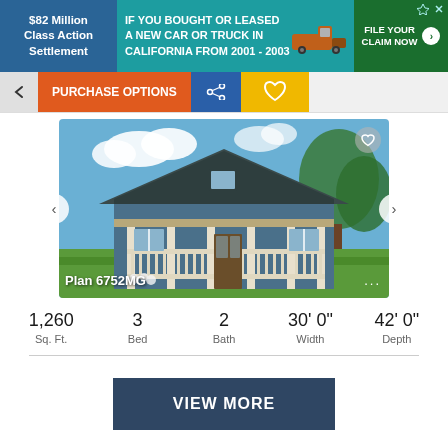[Figure (advertisement): Ad banner: $82 Million Class Action Settlement. IF YOU BOUGHT OR LEASED A NEW CAR OR TRUCK IN CALIFORNIA FROM 2001 - 2003. FILE YOUR CLAIM NOW button with truck image.]
[Figure (screenshot): Navigation bar with back chevron, PURCHASE OPTIONS button (orange), share icon (blue), heart icon (yellow)]
[Figure (photo): House photo: Plan 6752MG - blue craftsman style house with covered porch, white railings, green trees in background. Navigation arrows on sides, heart icon top right, ellipsis bottom right.]
1,260 Sq. Ft.   3 Bed   2 Bath   30' 0" Width   42' 0" Depth
[Figure (other): VIEW MORE button in dark navy blue]
VIEW MORE